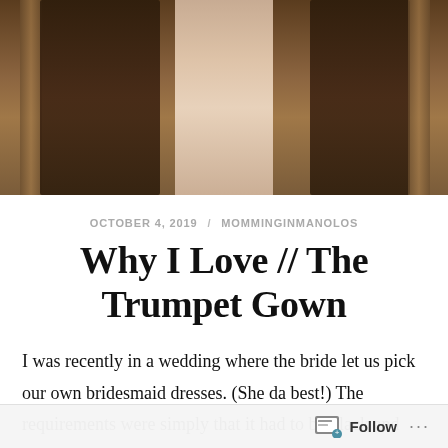[Figure (photo): Wedding photo showing a person in a white/cream trumpet gown in the center, flanked by two people in dark attire, in front of decorative wooden columns in a warm-toned interior setting.]
OCTOBER 4, 2019 / MOMMINGINMANOLOS
Why I Love // The Trumpet Gown
I was recently in a wedding where the bride let us pick our own bridesmaid dresses. (She da best!) The requirements were simply that it had to be black and full